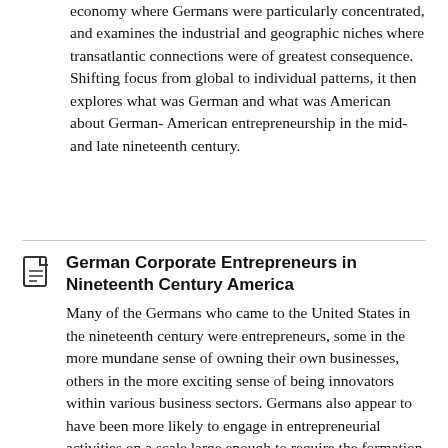economy where Germans were particularly concentrated, and examines the industrial and geographic niches where transatlantic connections were of greatest consequence. Shifting focus from global to individual patterns, it then explores what was German and what was American about German-American entrepreneurship in the mid- and late nineteenth century.
German Corporate Entrepreneurs in Nineteenth Century America
Many of the Germans who came to the United States in the nineteenth century were entrepreneurs, some in the more mundane sense of owning their own businesses, others in the more exciting sense of being innovators within various business sectors. Germans also appear to have been more likely to engage in entrepreneurial activities on a scale large enough to require the formation of corporations.